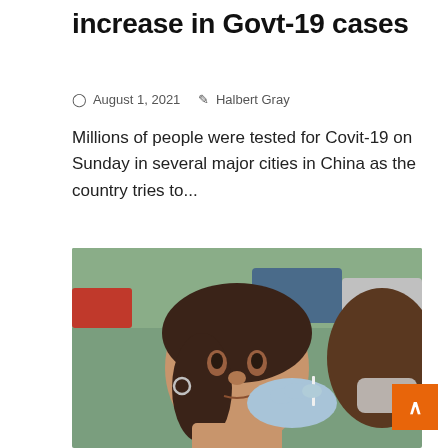increase in Govt-19 cases
August 1, 2021   Halbert Gray
Millions of people were tested for Covit-19 on Sunday in several major cities in China as the country tries to...
[Figure (photo): A woman receiving a nasal swab COVID-19 test administered by a healthcare worker wearing blue latex gloves, outdoors with cars in background. Badge overlay reads '2 min read'.]